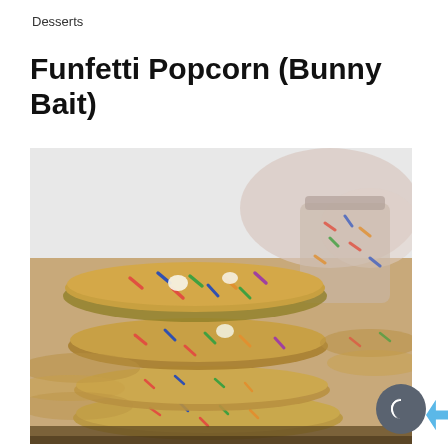Desserts
Funfetti Popcorn (Bunny Bait)
[Figure (photo): Stack of funfetti/sprinkle cookies piled on top of each other, with colorful sprinkles visible throughout the golden-baked cookies. A glass jar with more cookies is blurred in the background. Close-up food photography with shallow depth of field.]